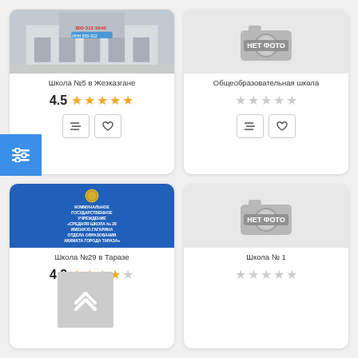[Figure (photo): Photo of school building - Школа №5 в Жезказгане]
Школа №5 в Жезказгане
4.5 ★★★★★
[Figure (photo): No photo placeholder - camera icon with НЕТ ФОТО text]
Общеобразовательная школа
[Figure (photo): Photo of school sign - Коммунальное государственное учреждение Средняя школа №29 имени Ю.Гагарина отдела образования акимата города Тараза]
Школа №29 в Таразе
4.2 ★★★★☆
[Figure (photo): No photo placeholder - camera icon with НЕТ ФОТО text]
Школа № 1